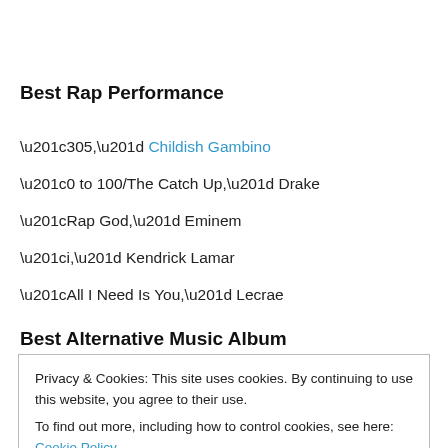Best Rap Performance
“305,” Childish Gambino
“0 to 100/The Catch Up,” Drake
“Rap God,” Eminem
“i,” Kendrick Lamar
“All I Need Is You,” Lecrae
Best Alternative Music Album
Privacy & Cookies: This site uses cookies. By continuing to use this website, you agree to their use.
To find out more, including how to control cookies, see here: Cookie Policy
Close and accept
Lazaretto, Jack White